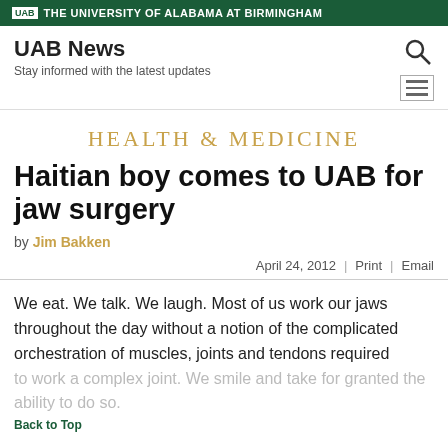UAB THE UNIVERSITY OF ALABAMA AT BIRMINGHAM
UAB News
Stay informed with the latest updates
HEALTH & MEDICINE
Haitian boy comes to UAB for jaw surgery
by Jim Bakken
April 24, 2012  |  Print  |  Email
We eat. We talk. We laugh. Most of us work our jaws throughout the day without a notion of the complicated orchestration of muscles, joints and tendons required to work a complex joint. We smile and take for granted the ability to do so.
Back to Top